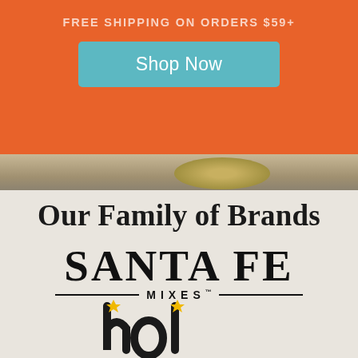FREE SHIPPING ON ORDERS $59+
Shop Now
[Figure (photo): Food/burger image visible at bottom of orange banner area]
Our Family of Brands
[Figure (logo): Santa Fe Mixes brand logo with large serif uppercase text and horizontal divider lines around 'MIXES' text with TM mark]
[Figure (logo): Partial view of another brand logo with yellow and black stylized lettering, partially cropped at page bottom]